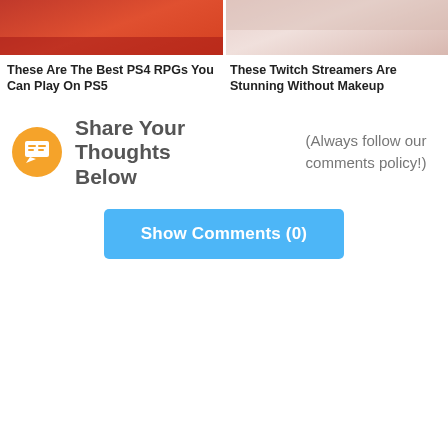[Figure (photo): Two thumbnail images side by side: left shows a red-toned image (PS4 RPGs article), right shows a person without makeup (Twitch streamers article)]
These Are The Best PS4 RPGs You Can Play On PS5
These Twitch Streamers Are Stunning Without Makeup
Share Your Thoughts Below
(Always follow our comments policy!)
Show Comments (0)